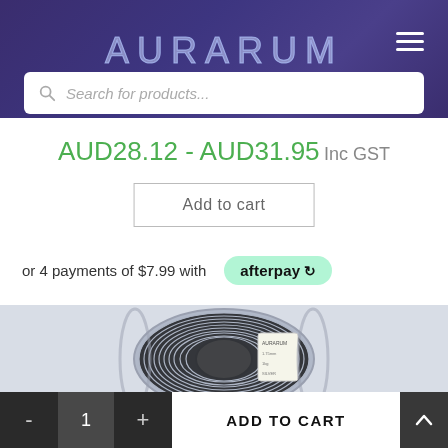AURARUM
Search for products...
AUD28.12 - AUD31.95 Inc GST
Add to cart
or 4 payments of $7.99 with afterpay
[Figure (photo): A spool of silver/grey 3D printer filament on a light grey background]
- 1 + ADD TO CART